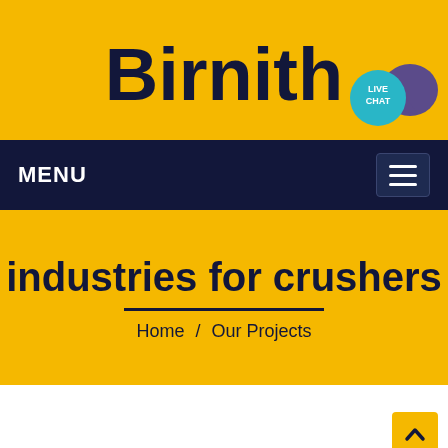Birnith
[Figure (screenshot): Live chat bubble icon (teal circle with LIVE CHAT text) and purple speech bubble icon in top right of header]
MENU
industries for crushers
Home / Our Projects
[Figure (other): Scroll to top button with upward chevron arrow in yellow square]
All
Crushing Equipment